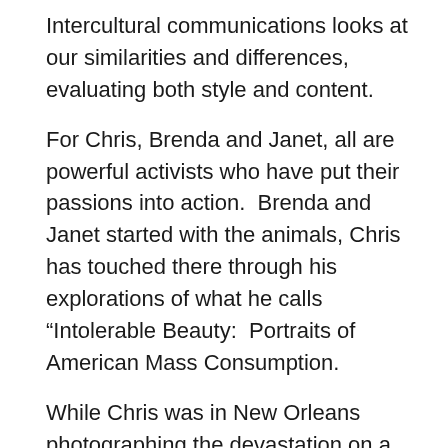Intercultural communications looks at our similarities and differences, evaluating both style and content.
For Chris, Brenda and Janet, all are powerful activists who have put their passions into action.  Brenda and Janet started with the animals, Chris has touched there through his explorations of what he calls “Intolerable Beauty:  Portraits of American Mass Consumption.
While Chris was in New Orleans photographing the devastation on a personal scale, Brenda was there making sure the companion animals, left behind, lonely and starving were cared for and reunited with family.